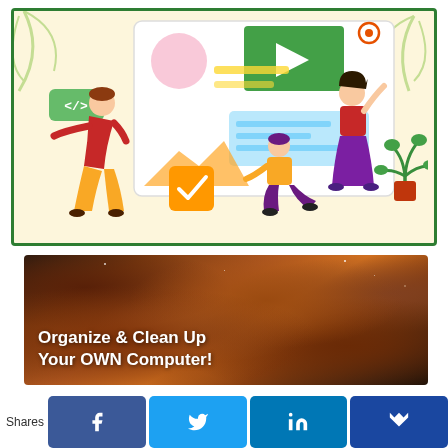[Figure (illustration): Flat style illustration of three people interacting with a large web/app interface mockup. Left person (red shirt, yellow pants) pushes a panel. Center person (yellow shirt, purple pants) kneels gesturing. Right person (red top, purple skirt) reaches up. Interface shows green play button, code tag, chart, pink circle, checkmark, blue text boxes. Background is pale yellow with palm leaves. Border is dark green.]
[Figure (photo): Photograph of a nebula (space/galaxy image) with orange, brown and gold clouds. Overlaid bold white text reads: 'Organize & Clean Up Your OWN Computer!']
Shares